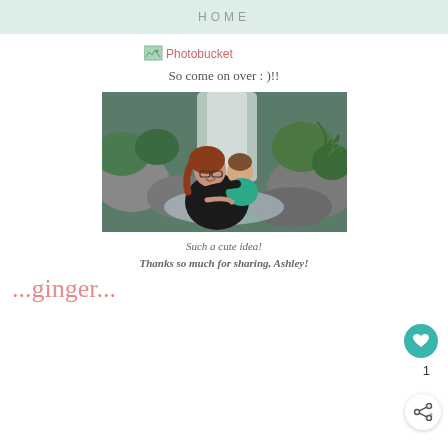HOME
[Figure (photo): Photobucket placeholder image icon with link text]
So come on over : )!!
[Figure (photo): Photo of a woman with red hair and glasses holding a young child, standing in front of a waterfall with mossy rocks and green ferns]
Such a cute idea!
Thanks so much for sharing, Ashley!
...ginger...